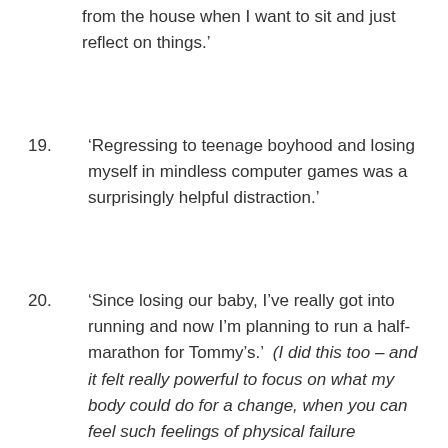from the house when I want to sit and just reflect on things.'
19. 'Regressing to teenage boyhood and losing myself in mindless computer games was a surprisingly helpful distraction.'
20. 'Since losing our baby, I've really got into running and now I'm planning to run a half-marathon for Tommy's.'  (I did this too – and it felt really powerful to focus on what my body could do for a change, when you can feel such feelings of physical failure